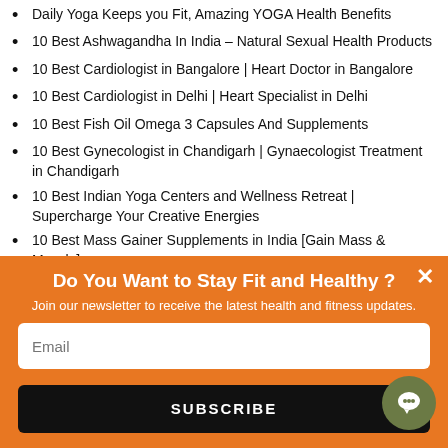Daily Yoga Keeps you Fit, Amazing YOGA Health Benefits
10 Best Ashwagandha In India – Natural Sexual Health Products
10 Best Cardiologist in Bangalore | Heart Doctor in Bangalore
10 Best Cardiologist in Delhi | Heart Specialist in Delhi
10 Best Fish Oil Omega 3 Capsules And Supplements
10 Best Gynecologist in Chandigarh | Gynaecologist Treatment in Chandigarh
10 Best Indian Yoga Centers and Wellness Retreat | Supercharge Your Creative Energies
10 Best Mass Gainer Supplements in India [Gain Mass & Muscle]
10 Best Pulmonologist in Delhi | Doctor for Lungs Problem
10 Best Pulmonologists in Kolkata | Lungs Specialist in Kolkata
Do You Want to Stay Fit and Healthy ?
Join our newsletter to receive the latest health and fitness updates.
SUBSCRIBE